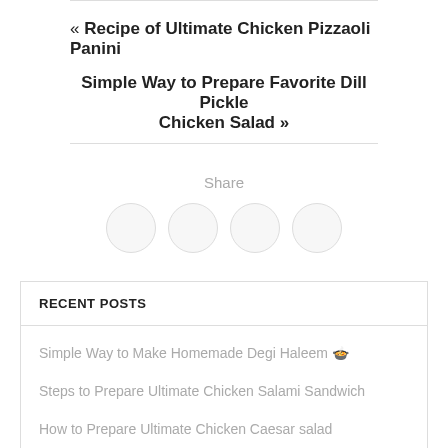« Recipe of Ultimate Chicken Pizzaoli Panini
Simple Way to Prepare Favorite Dill Pickle Chicken Salad »
Share
RECENT POSTS
Simple Way to Make Homemade Degi Haleem 🍲
Steps to Prepare Ultimate Chicken Salami Sandwich
How to Prepare Ultimate Chicken Caesar salad
Step by Step Guide to Prepare Perfect Deep Fried